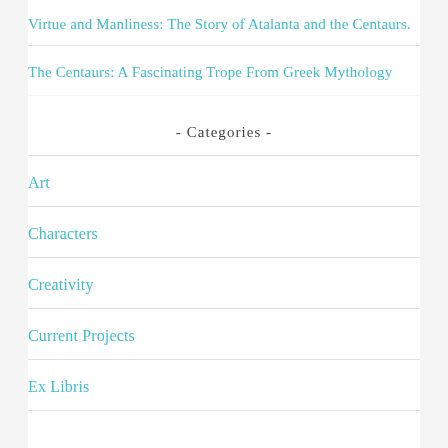Virtue and Manliness: The Story of Atalanta and the Centaurs.
The Centaurs: A Fascinating Trope From Greek Mythology
- Categories -
Art
Characters
Creativity
Current Projects
Ex Libris